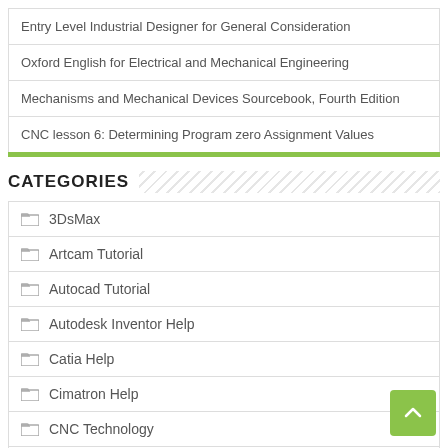Entry Level Industrial Designer for General Consideration
Oxford English for Electrical and Mechanical Engineering
Mechanisms and Mechanical Devices Sourcebook, Fourth Edition
CNC lesson 6: Determining Program zero Assignment Values
CATEGORIES
3DsMax
Artcam Tutorial
Autocad Tutorial
Autodesk Inventor Help
Catia Help
Cimatron Help
CNC Technology
Creo Parametric